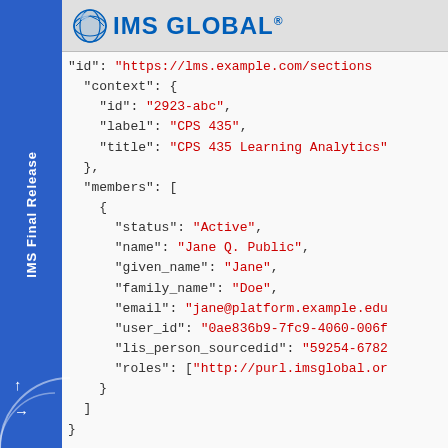IMS GLOBAL
IMS Final Release
JSON code block showing membership service API response with context (id: 2923-abc, label: CPS 435, title: CPS 435 Learning Analytics) and members array with one member (status: Active, name: Jane Q. Public, given_name: Jane, family_name: Doe, email: jane@platform.example.edu, user_id: 0ae836b9-7fc9-4060-006f, lis_person_sourcedid: 59254-6782, roles: [http://purl.imsglobal.or...])